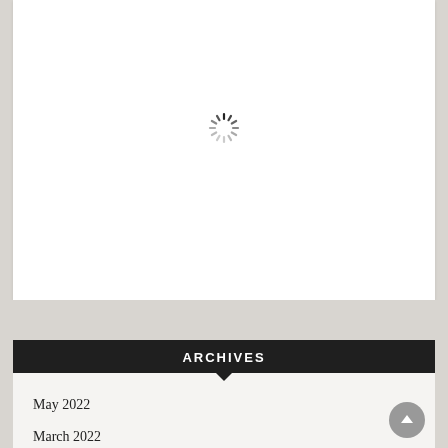[Figure (other): White content area with a loading spinner (gray radial lines) centered in the box]
ARCHIVES
May 2022
March 2022